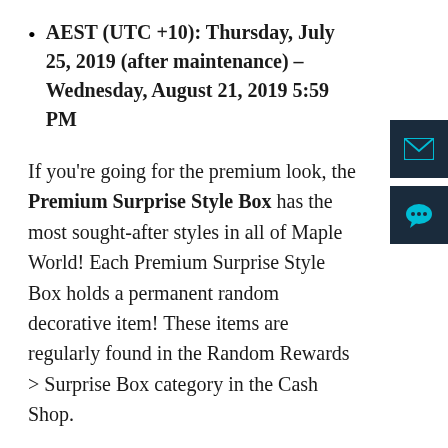AEST (UTC +10): Thursday, July 25, 2019 (after maintenance) – Wednesday, August 21, 2019 5:59 PM
If you're going for the premium look, the Premium Surprise Style Box has the most sought-after styles in all of Maple World! Each Premium Surprise Style Box holds a permanent random decorative item! These items are regularly found in the Random Rewards > Surprise Box category in the Cash Shop.
We have reduced the total number of permanent items available from the Premium Surprise Style Box from 100 items